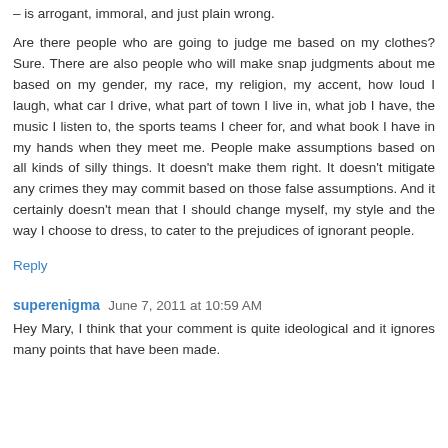– is arrogant, immoral, and just plain wrong.
Are there people who are going to judge me based on my clothes? Sure. There are also people who will make snap judgments about me based on my gender, my race, my religion, my accent, how loud I laugh, what car I drive, what part of town I live in, what job I have, the music I listen to, the sports teams I cheer for, and what book I have in my hands when they meet me. People make assumptions based on all kinds of silly things. It doesn't make them right. It doesn't mitigate any crimes they may commit based on those false assumptions. And it certainly doesn't mean that I should change myself, my style and the way I choose to dress, to cater to the prejudices of ignorant people.
Reply
superenigma  June 7, 2011 at 10:59 AM
Hey Mary, I think that your comment is quite ideological and it ignores many points that have been made.